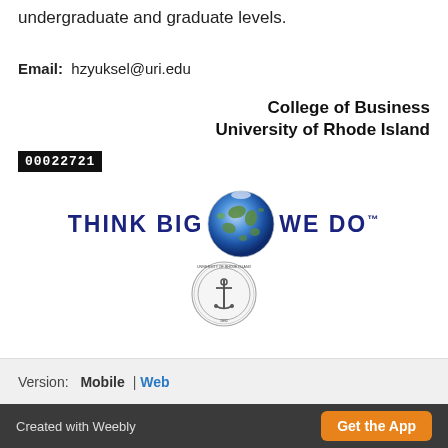undergraduate and graduate levels.
Email:  hzyuksel@uri.edu
College of Business
University of Rhode Island
00022721
[Figure (logo): University of Rhode Island 'THINK BIG WE DO' logo with globe image and university seal]
Version:  Mobile | Web
Created with Weebly | Get the App